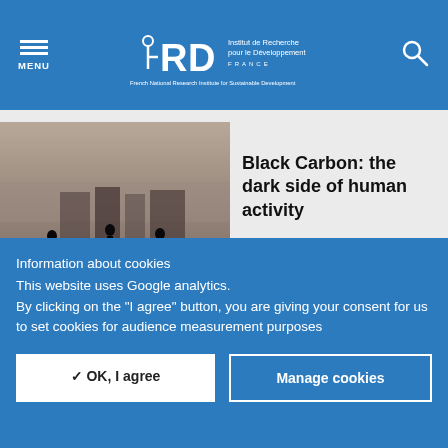MENU | IRD Institut de Recherche pour le Développement FRANCE - French National Research Institute for Sustainable Development
[Figure (photo): Silhouettes of people on a smoggy rooftop or observation deck with hazy cityscape in background, dark moody tones]
Black Carbon: the dark side of human activity
[Figure (photo): Light beige/tan abstract image, possibly a building or wall]
[Project] GlobalSmog - Researching air pollution in cities
Information about cookies
This website uses Google analytics.
By clicking on the "I agree" button, you are giving your consent for us to set cookies for audience measurement purposes